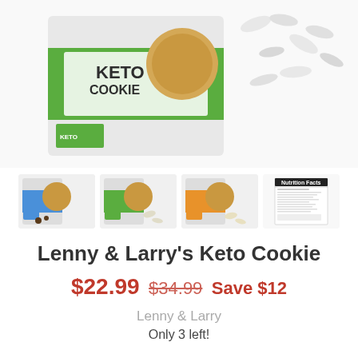[Figure (photo): Main product photo showing Lenny & Larry's Keto Cookie box with cookies and loose white almonds/capsules beside it, on white background.]
[Figure (photo): Thumbnail 1: Chocolate chip variety Keto Cookie boxes with cookies]
[Figure (photo): Thumbnail 2: Green/vanilla variety Keto Cookie box with cookies]
[Figure (photo): Thumbnail 3: Orange/lemon variety Keto Cookie box with cookies]
[Figure (photo): Thumbnail 4: Nutrition facts label image]
Lenny & Larry's Keto Cookie
$22.99 $34.99 Save $12
Lenny & Larry
Only 3 left!